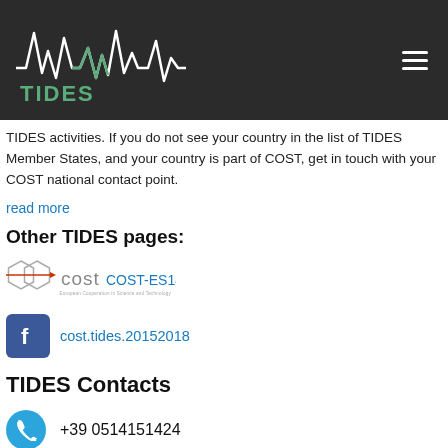TIDES
TIDES activities. If you do not see your country in the list of TIDES Member States, and your country is part of COST, get in touch with your COST national contact point.
read more
Other TIDES pages:
[Figure (logo): COST European Cooperation in Science and Technology logo with text COST-ES1401]
[Figure (logo): Facebook icon with link text cost.tides.20152018]
TIDES Contacts
+39 0514151424
tides.cost@gmail.com